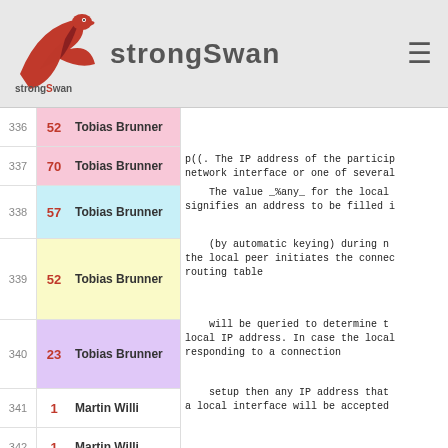strongSwan
| # | score | author | text |
| --- | --- | --- | --- |
| 336 | 52 | Tobias Brunner |  |
| 337 | 70 | Tobias Brunner | p((. The IP address of the partici... network interface or one of several... |
| 338 | 57 | Tobias Brunner | The value _%any_ for the local... signifies an address to be filled i... |
| 339 | 52 | Tobias Brunner | (by automatic keying) during n... the local peer initiates the connec... routing table |
| 340 | 23 | Tobias Brunner | will be queried to determine t... local IP address. In case the local... responding to a connection |
| 341 | 1 | Martin Willi | setup then any IP address that... a local interface will be accepted |
| 342 | 1 | Martin Willi |  |
| 343 | 58 | Tobias Brunner | p((. Prior to [[5.0.0]] specifying... local endpoint was not supported fo... connections, instead |
| 344 | 58 | Tobias Brunner | the keyword _%%defaultroute_ o... causing the value to be filled in a... with the local |